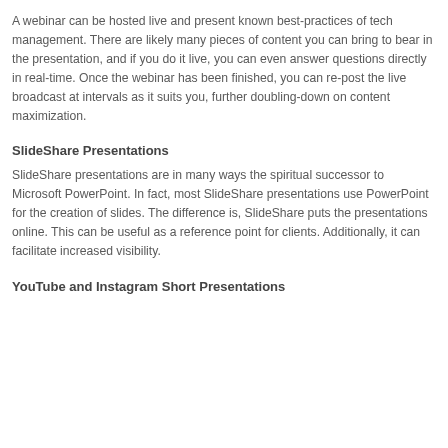A webinar can be hosted live and present known best-practices of tech management. There are likely many pieces of content you can bring to bear in the presentation, and if you do it live, you can even answer questions directly in real-time. Once the webinar has been finished, you can re-post the live broadcast at intervals as it suits you, further doubling-down on content maximization.
SlideShare Presentations
SlideShare presentations are in many ways the spiritual successor to Microsoft PowerPoint. In fact, most SlideShare presentations use PowerPoint for the creation of slides. The difference is, SlideShare puts the presentations online. This can be useful as a reference point for clients. Additionally, it can facilitate increased visibility.
YouTube and Instagram Short Presentations